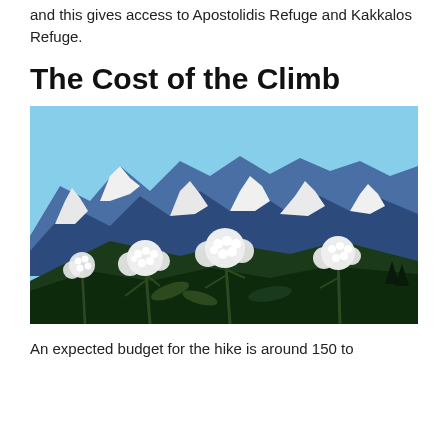and this gives access to Apostolidis Refuge and Kakkalos Refuge.
The Cost of the Climb
[Figure (photo): Photograph of snow-capped mountain peaks with blue sky in the background and white wildflowers (cow parsnip/hogweed) in the foreground.]
An expected budget for the hike is around 150 to